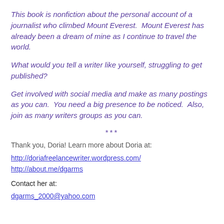This book is nonfiction about the personal account of a journalist who climbed Mount Everest.  Mount Everest has already been a dream of mine as I continue to travel the world.
What would you tell a writer like yourself, struggling to get published?
Get involved with social media and make as many postings as you can.  You need a big presence to be noticed.  Also, join as many writers groups as you can.
***
Thank you, Doria! Learn more about Doria at:
http://doriafreelancewriter.wordpress.com/
http://about.me/dgarms
Contact her at:
dgarms_2000@yahoo.com